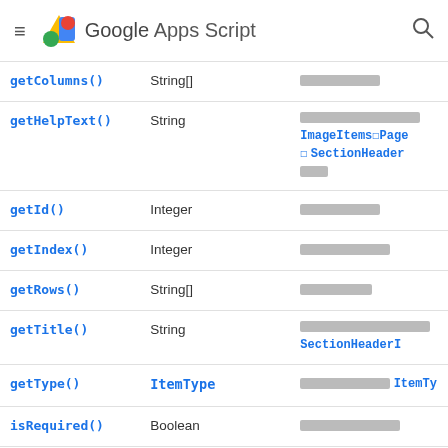Google Apps Script
| Method | Return type | Brief description |
| --- | --- | --- |
| getColumns() | String[] | ██████████ |
| getHelpText() | String | ████████████████ ImageItems█Page█ █ SectionHeader ███ |
| getId() | Integer | ██████████ |
| getIndex() | Integer | ███████████ |
| getRows() | String[] | █████████ |
| getTitle() | String | ████████████████████ SectionHeaderI |
| getType() | ItemType | ████████████ ItemTy |
| isRequired() | Boolean | █████████████ |
| setColumns(columns) | CheckboxGridItem | ████████████ |